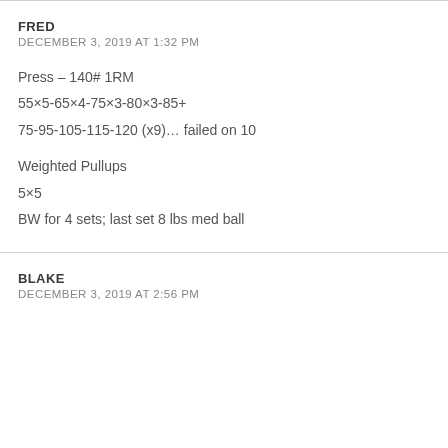FRED
DECEMBER 3, 2019 AT 1:32 PM
Press – 140# 1RM
55×5-65×4-75×3-80×3-85+
75-95-105-115-120 (x9)… failed on 10

Weighted Pullups
5×5
BW for 4 sets; last set 8 lbs med ball
BLAKE
DECEMBER 3, 2019 AT 2:56 PM